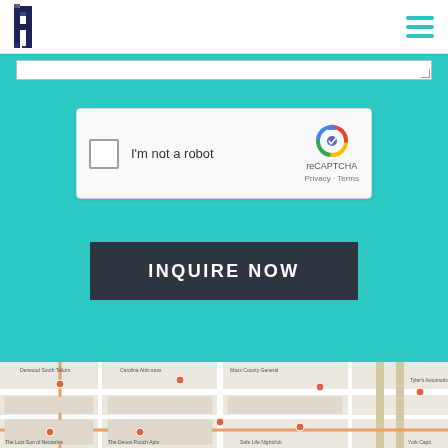[Figure (logo): Pixelated H logo in dark navy blue]
[Figure (other): Hamburger menu icon with three teal horizontal lines]
[Figure (screenshot): reCAPTCHA widget with checkbox, 'I'm not a robot' text, and reCAPTCHA logo with Privacy and Terms links]
INQUIRE NOW
[Figure (map): Google Maps view showing street map with location pins for various businesses including Derwood South Tailors, Carolina Attic-sass, Sullivan's Steakhouse, Safe Life Nightclub, Maxx County General Services Center, The Devon Pouch Apartments, The Lutz Son of Nectarine, Tyler's Automotive Services, and York Capit]